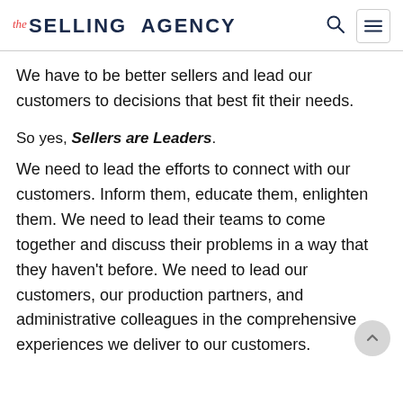the SELLING AGENCY
We have to be better sellers and lead our customers to decisions that best fit their needs.
So yes, Sellers are Leaders.
We need to lead the efforts to connect with our customers. Inform them, educate them, enlighten them. We need to lead their teams to come together and discuss their problems in a way that they haven't before. We need to lead our customers, our production partners, and administrative colleagues in the comprehensive experiences we deliver to our customers.